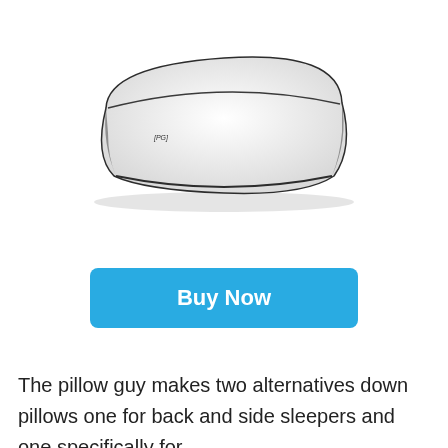[Figure (photo): A white pillow with dark piping/edging shown from a side angle on a white background with a subtle shadow beneath it. A small logo or text is visible on the lower-left corner of the pillow.]
Buy Now
The pillow guy makes two alternatives down pillows one for back and side sleepers and one specifically for